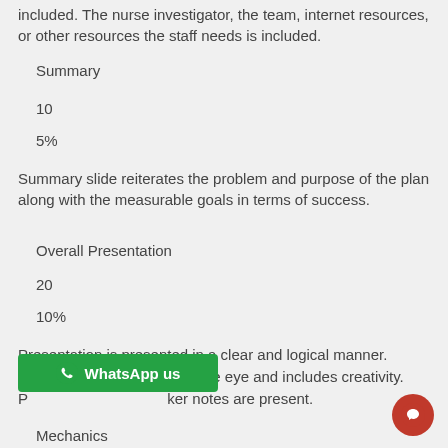included. The nurse investigator, the team, internet resources, or other resources the staff needs is included.
Summary
10
5%
Summary slide reiterates the problem and purpose of the plan along with the measurable goals in terms of success.
Overall Presentation
20
10%
Presentation is presented in a clear and logical manner. PowerPoint is appealing to the eye and includes creativity. P[...] ker notes are present.
Mechanics